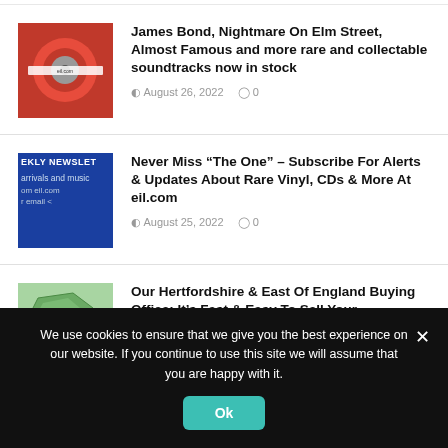[Figure (photo): Red vinyl record sleeve thumbnail for James Bond/soundtracks article]
James Bond, Nightmare On Elm Street, Almost Famous and more rare and collectable soundtracks now in stock
August 26, 2022  0
[Figure (screenshot): Newsletter signup form thumbnail showing 'EKLY NEWSLET' header, arrivals and music text, eil.com, and email field]
Never Miss “The One” – Subscribe For Alerts & Updates About Rare Vinyl, CDs & More At eil.com
August 25, 2022  0
[Figure (map): Map of Hertfordshire and East of England region]
Our Hertfordshire & East Of England Buying Office: It’s Fast & Easy To Sell Your
We use cookies to ensure that we give you the best experience on our website. If you continue to use this site we will assume that you are happy with it.